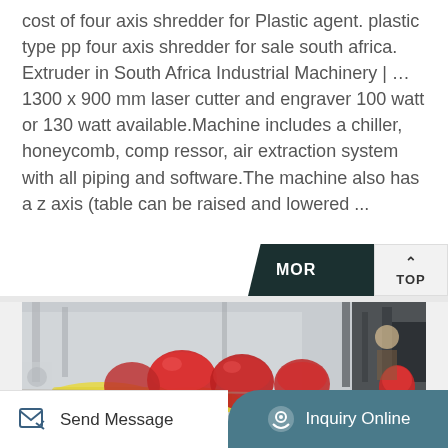cost of four axis shredder for Plastic agent. plastic type pp four axis shredder for sale south africa. Extruder in South Africa Industrial Machinery | … 1300 x 900 mm laser cutter and engraver 100 watt or 130 watt available.Machine includes a chiller, honeycomb, comp ressor, air extraction system with all piping and software.The machine also has a z axis (table can be raised and lowered ...
[Figure (photo): Industrial machinery workshop scene with red dome-shaped components and yellow foam/padding materials on a work surface, workers in background]
Send Message
Inquiry Online